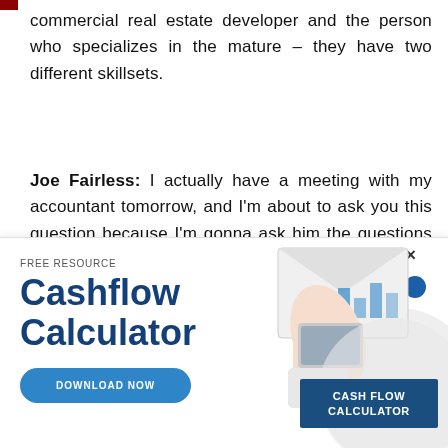commercial real estate developer and the person who specializes in the mature – they have two different skillsets.
Joe Fairless: I actually have a meeting with my accountant tomorrow, and I'm about to ask you this question because I'm gonna ask him the questions that you say… So what questions should I ask my accountant when I meet with
[Figure (infographic): Free Resource banner ad for Cashflow Calculator with a Download Now button and an illustration of hands using a calculator with charts, and a dark blue label reading CASH FLOW CALCULATOR]